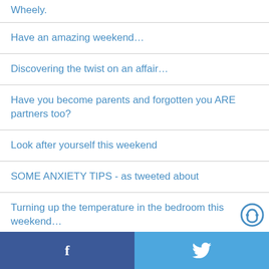Wheely.
Have an amazing weekend…
Discovering the twist on an affair…
Have you become parents and forgotten you ARE partners too?
Look after yourself this weekend
SOME ANXIETY TIPS - as tweeted about
Turning up the temperature in the bedroom this weekend…
Getting over a breakup and they are still…
f  🐦